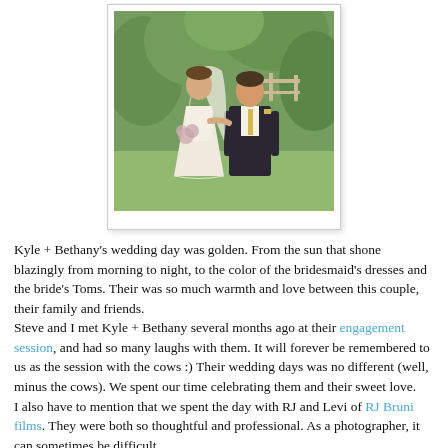[Figure (photo): Wedding photo of a bride in a white strapless gown and a groom in a dark suit with yellow tie, standing together outdoors in a park-like setting with greenery in the background, displayed in a white polaroid-style frame.]
Kyle + Bethany's wedding day was golden. From the sun that shone blazingly from morning to night, to the color of the bridesmaid's dresses and the bride's Toms. Their was so much warmth and love between this couple, their family and friends.
Steve and I met Kyle + Bethany several months ago at their engagement session, and had so many laughs with them. It will forever be remembered to us as the session with the cows :) Their wedding days was no different (well, minus the cows). We spent our time celebrating them and their sweet love.
I also have to mention that we spent the day with RJ and Levi of RJ Bruni films. They were both so thoughtful and professional. As a photographer, it can sometimes be difficult